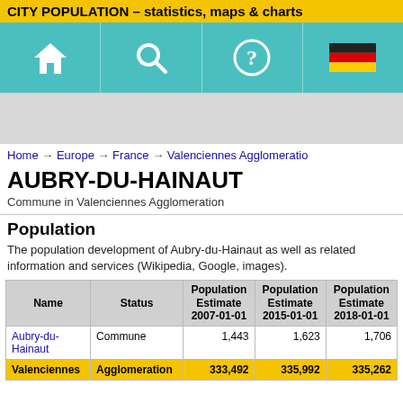CITY POPULATION – statistics, maps & charts
[Figure (infographic): Navigation bar with home icon, search icon, help/question mark icon, and German flag icon on teal background]
[Figure (infographic): Advertisement/banner placeholder area (gray)]
Home → Europe → France → Valenciennes Agglomeration
AUBRY-DU-HAINAUT
Commune in Valenciennes Agglomeration
Population
The population development of Aubry-du-Hainaut as well as related information and services (Wikipedia, Google, images).
| Name | Status | Population Estimate 2007-01-01 | Population Estimate 2015-01-01 | Population Estimate 2018-01-01 |
| --- | --- | --- | --- | --- |
| Aubry-du-Hainaut | Commune | 1,443 | 1,623 | 1,706 |
| Valenciennes | Agglomeration | 333,492 | 335,992 | 335,262 |